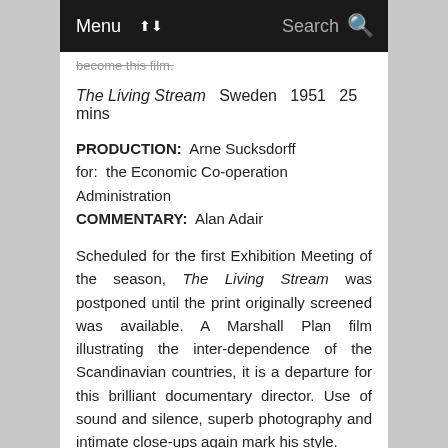Menu | Search
become this film.
The Living Stream   Sweden   1951   25 mins
PRODUCTION:  Arne Sucksdorff
for:  the Economic Co-operation Administration
COMMENTARY:  Alan Adair
Scheduled for the first Exhibition Meeting of the season, The Living Stream was postponed until the print originally screened was available. A Marshall Plan film illustrating the inter-dependence of the Scandinavian countries, it is a departure for this brilliant documentary director. Use of sound and silence, superb photography and intimate close-ups again mark his style.
Critic and film No. 3:  Odd Man Out   Great Britain   1948   35 mins